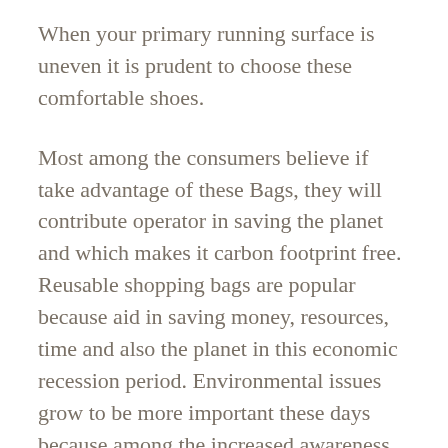When your primary running surface is uneven it is prudent to choose these comfortable shoes.
Most among the consumers believe if take advantage of these Bags, they will contribute operator in saving the planet and which makes it carbon footprint free. Reusable shopping bags are popular because aid in saving money, resources, time and also the planet in this economic recession period. Environmental issues grow to be more important these days because among the increased awareness among people throughout entire world.
Firstly, high quality of many replica watches is high graded. Those reliable replica watches manufacturers are doing their a good idea to ensure regular. From the materials to the craftsmanship, it is strict to strictly pricing for each product of a ...